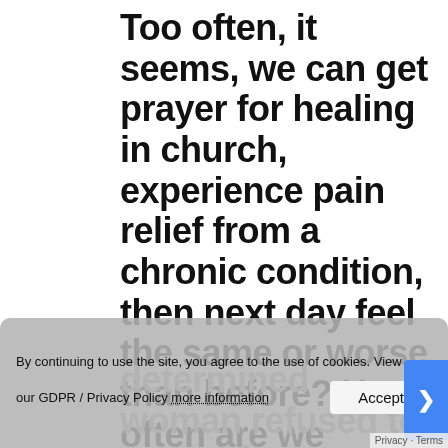Too often, it seems, we can get prayer for healing in church, experience pain relief from a chronic condition, then next day feel the same or worse than before? How often are we tempted to sit back, accept it, and decide that it wasn't God's will to heal at that point? Read how one determined woman refused to accept it was not God's will to heal her and changed her prayers so that she saw
By continuing to use the site, you agree to the use of cookies. View our GDPR / Privacy Policy more information
Accept